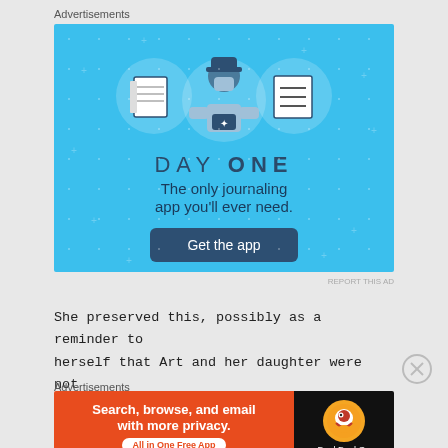Advertisements
[Figure (illustration): Day One journaling app advertisement. Blue background with illustrated icons: notebook, person using phone, checklist. Text: DAY ONE - The only journaling app you'll ever need. Button: Get the app]
REPORT THIS AD
She preserved this, possibly as a reminder to herself that Art and her daughter were not intended to be friends. Over the years I've got
Advertisements
[Figure (illustration): DuckDuckGo advertisement. Orange left panel: Search, browse, and email with more privacy. All in One Free App. Black right panel with DuckDuckGo logo duck icon and DuckDuckGo text.]